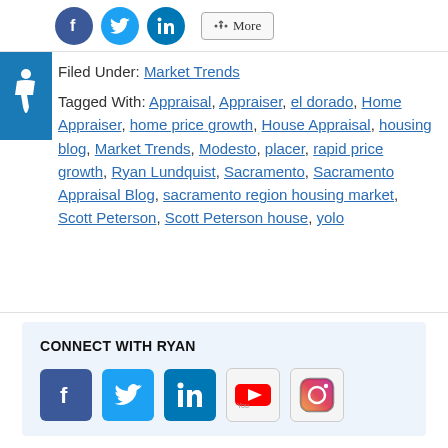[Figure (other): Social share buttons: Facebook (blue circle), Twitter (cyan circle), LinkedIn (blue circle), and a More button with share icon]
[Figure (other): Accessibility wheelchair icon in blue square]
Filed Under: Market Trends
Tagged With: Appraisal, Appraiser, el dorado, Home Appraiser, home price growth, House Appraisal, housing blog, Market Trends, Modesto, placer, rapid price growth, Ryan Lundquist, Sacramento, Sacramento Appraisal Blog, sacramento region housing market, Scott Peterson, Scott Peterson house, yolo
CONNECT WITH RYAN
[Figure (other): Social media icons: Facebook, Twitter, LinkedIn, YouTube, Instagram]